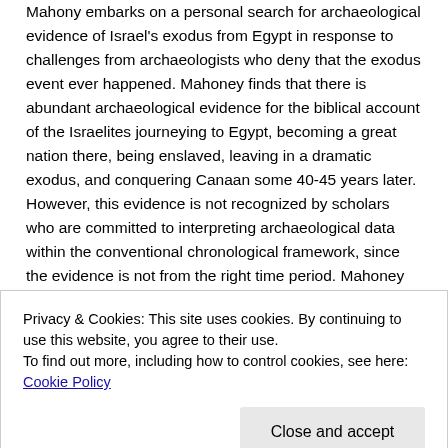Mahony embarks on a personal search for archaeological evidence of Israel's exodus from Egypt in response to challenges from archaeologists who deny that the exodus event ever happened. Mahoney finds that there is abundant archaeological evidence for the biblical account of the Israelites journeying to Egypt, becoming a great nation there, being enslaved, leaving in a dramatic exodus, and conquering Canaan some 40-45 years later. However, this evidence is not recognized by scholars who are committed to interpreting archaeological data within the conventional chronological framework, since the evidence is not from the right time period. Mahoney shows that it is entirely reasonable to compress the
Privacy & Cookies: This site uses cookies. By continuing to use this website, you agree to their use.
To find out more, including how to control cookies, see here: Cookie Policy
Close and accept
bring the conventional Egyptian chronology and